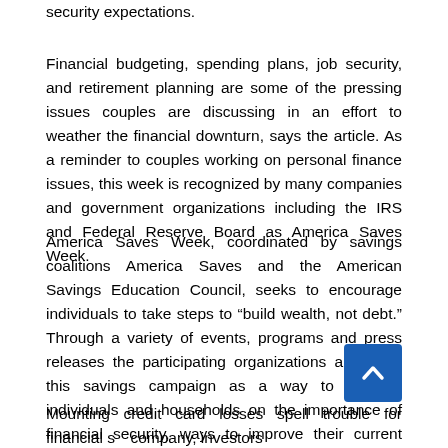security expectations.
Financial budgeting, spending plans, job security, and retirement planning are some of the pressing issues couples are discussing in an effort to weather the financial downturn, says the article. As a reminder to couples working on personal finance issues, this week is recognized by many companies and government organizations including the IRS and Federal Reserve Board as America Saves Week.
America Saves Week, coordinated by savings coalitions America Saves and the American Savings Education Council, seeks to encourage individuals to take steps to “build wealth, not debt.” Through a variety of events, programs and press releases the participating organizations are using this savings campaign as a way to educate individuals and households on the importance of financial security, ways to improve their current standing and how to plan for their financial future.
Mounting credit card losses spell trouble for financial services company, investors